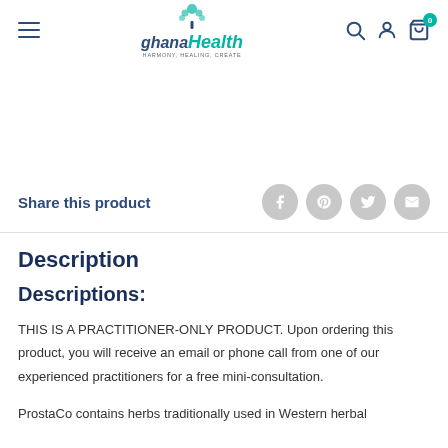ghanaHealth — navigation bar with hamburger menu, logo, search, account, and cart icons
Share this product
Description
Descriptions:
THIS IS A PRACTITIONER-ONLY PRODUCT. Upon ordering this product, you will receive an email or phone call from one of our experienced practitioners for a free mini-consultation.
ProstaCo contains herbs traditionally used in Western herbal